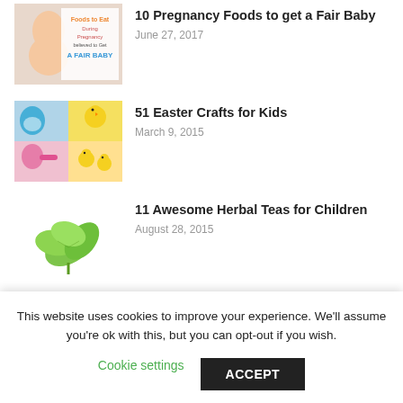[Figure (photo): Thumbnail image for pregnancy foods article showing a pregnant woman and text 'Foods to Eat During Pregnancy Believed to Get A FAIR BABY']
10 Pregnancy Foods to get a Fair Baby
June 27, 2017
[Figure (photo): Thumbnail collage of Easter crafts for kids showing decorated eggs and yellow chick crafts]
51 Easter Crafts for Kids
March 9, 2015
[Figure (photo): Thumbnail showing fresh green mint/herb leaves on white background]
11 Awesome Herbal Teas for Children
August 28, 2015
JOKES & RIDDLES
This website uses cookies to improve your experience. We'll assume you're ok with this, but you can opt-out if you wish.
Cookie settings
ACCEPT